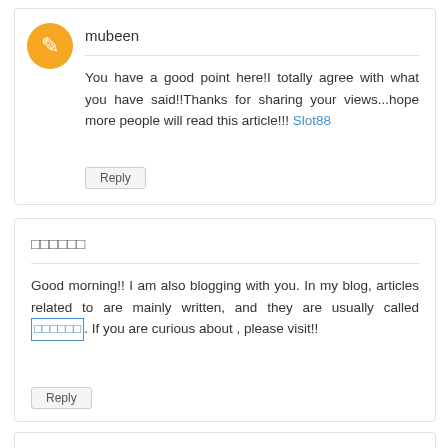mubeen
You have a good point here!I totally agree with what you have said!!Thanks for sharing your views...hope more people will read this article!!! Slot88
Reply
□□□□□□
Good morning!! I am also blogging with you. In my blog, articles related to are mainly written, and they are usually called □□□□□□. If you are curious about , please visit!!
Reply
□□□□□□□□
Nice post. I learn something totally new and challenging on blogs I